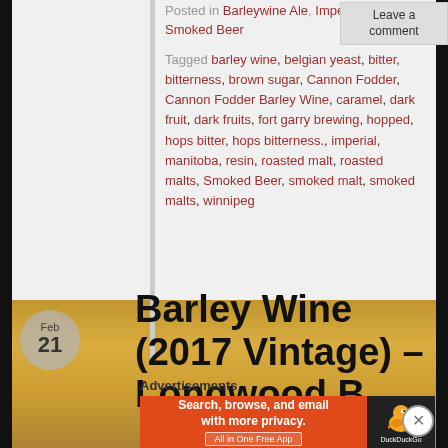Posted in Barleywine Ale, Imperial, Smoked Beer
Leave a comment
Tagged barley wine, belgian yeast, bitter, bitterness, brown sugar, Cannon Fodder, Cannon Fodder Barley Wine, caramel, dark fruit, dark fruits, fort garry brewing, hopped, hops bitter, hops bitterness., imperial, manitoba, resin, roasted malt, roasted malts, Smoked Beer, smoked malt, smoked malts, winnipeg
Barley Wine (2017 Vintage) – Longwood B...
Advertisements
[Figure (other): DuckDuckGo advertisement banner: orange background with text 'Search, browse, and email with more privacy. All in One Free App' and DuckDuckGo duck logo on dark background]